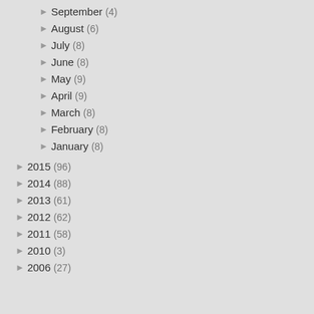September (4)
August (6)
July (8)
June (8)
May (9)
April (9)
March (8)
February (8)
January (8)
2015 (96)
2014 (88)
2013 (61)
2012 (62)
2011 (58)
2010 (3)
2006 (27)